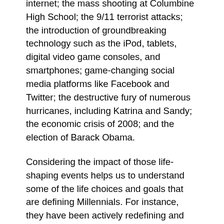internet; the mass shooting at Columbine High School; the 9/11 terrorist attacks; the introduction of groundbreaking technology such as the iPod, tablets, digital video game consoles, and smartphones; game-changing social media platforms like Facebook and Twitter; the destructive fury of numerous hurricanes, including Katrina and Sandy; the economic crisis of 2008; and the election of Barack Obama.
Considering the impact of those life-shaping events helps us to understand some of the life choices and goals that are defining Millennials. For instance, they have been actively redefining and redesigning family through their beliefs about the value of life, marriage, the appeal of raising children, and even their ideas about sexual identity and behavior. They have struggled to experience healthy relationships, at least partly due to their immersion in and reliance upon digital technology.
Millennials are known as poster children for the narcissistic lifestyle. That encompasses their pervasive yet uncomfortable materialism; hypersensitivity to criticism; and inconsistent and fluid norms, values, attitudes, and lifestyles. They are seeking to rewrite employment norms by valuing achievements (rather than hours worked) and